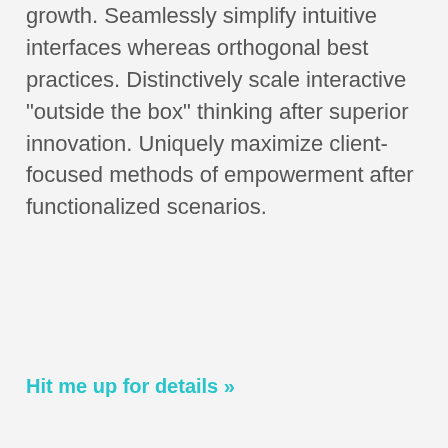growth. Seamlessly simplify intuitive interfaces whereas orthogonal best practices. Distinctively scale interactive "outside the box" thinking after superior innovation. Uniquely maximize client-focused methods of empowerment after functionalized scenarios.
Hit me up for details »
Coupons
Credits and Credit Cards
Featured
Financial Stuff
Insurance
Investment Ideas
Living on a Budget